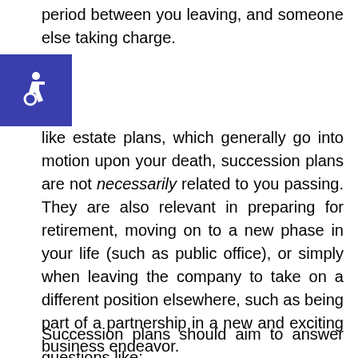period between you leaving, and someone else taking charge.
[Figure (illustration): Accessibility icon (wheelchair symbol) in white on a blue square background]
Unlike estate plans, which generally go into motion upon your death, succession plans are not necessarily related to you passing. They are also relevant in preparing for retirement, moving on to a new phase in your life (such as public office), or simply when leaving the company to take on a different position elsewhere, such as being part of a partnership in a new and exciting business endeavor.
Succession plans should aim to answer questions like: